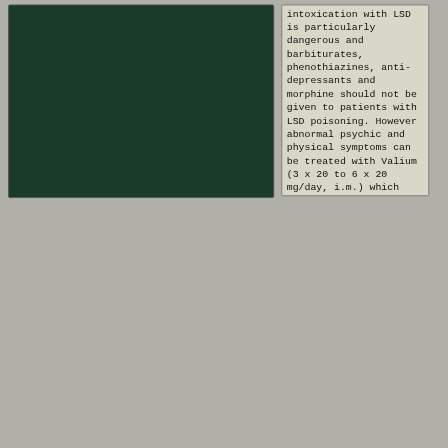[Figure (photo): Dark green rectangular panel on the left side of the page, appears to be a photograph or dark illustration]
intoxication with LSD is particularly dangerous and barbiturates, phenothiazines, anti-depressants and morphine should not be given to patients with LSD poisoning. However abnormal psychic and physical symptoms can be treated with Valium (3 x 20 to 6 x 20 mg/day, i.m.) which controls psychomotor changes, while Coramin (i.m.) can be used to reduce the risk of cerebral fits. Solutions containing large amounts of glucose with vitamins and